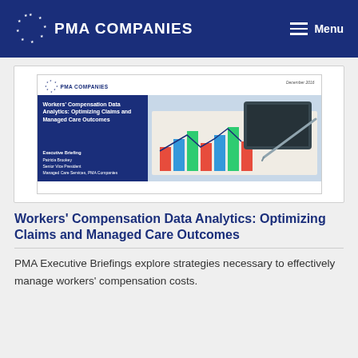PMA COMPANIES   Menu
[Figure (screenshot): Slide thumbnail preview of PMA Companies executive briefing document titled 'Workers' Compensation Data Analytics: Optimizing Claims and Managed Care Outcomes', December 2016, with photo of charts and tablet on the right side.]
Workers' Compensation Data Analytics: Optimizing Claims and Managed Care Outcomes
PMA Executive Briefings explore strategies necessary to effectively manage workers' compensation costs.